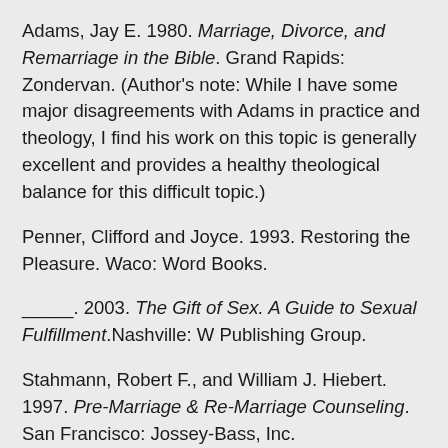Adams, Jay E. 1980. Marriage, Divorce, and Remarriage in the Bible. Grand Rapids: Zondervan. (Author's note: While I have some major disagreements with Adams in practice and theology, I find his work on this topic is generally excellent and provides a healthy theological balance for this difficult topic.)
Penner, Clifford and Joyce. 1993. Restoring the Pleasure. Waco: Word Books.
_____. 2003. The Gift of Sex. A Guide to Sexual Fulfillment. Nashville: W Publishing Group.
Stahmann, Robert F., and William J. Hiebert. 1997. Pre-Marriage & Re-Marriage Counseling. San Francisco: Jossey-Bass, Inc.